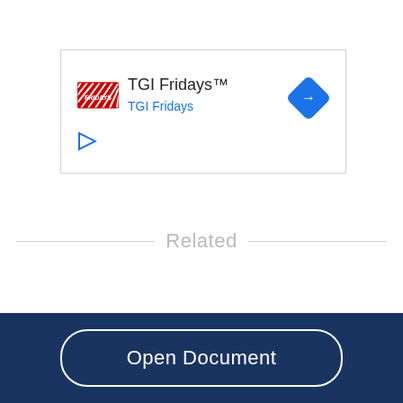[Figure (logo): TGI Fridays card with logo, name, subtitle link, navigation arrow icon, and play icon]
Related
Open Document